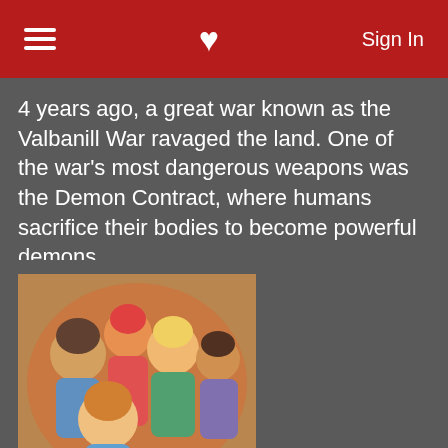Sign In
4 years ago, a great war known as the Valbanill War ravaged the land. One of the war's most dangerous weapons was the Demon Contract, where humans sacrifice their bodies to become powerful demons.
259 users added this.
[Figure (illustration): Anime group illustration thumbnail for Baka to Test to Shoukanjuu Ni!]
Baka to Test to Shoukanjuu Ni! [TV]
Lostless gave it a 10.
Continuing from where Season 1 left, the story continues with a more in depth into the characters but with the same humor narrative as before.